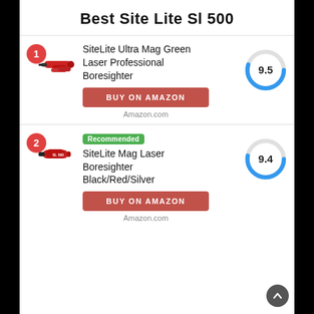Best Site Lite Sl 500
[Figure (other): Product image of SiteLite Ultra Mag Green Laser Professional Boresighter (red cylindrical device)]
SiteLite Ultra Mag Green Laser Professional Boresighter
BUY ON AMAZON
Amazon.com
[Figure (donut-chart): Score gauge showing 9.5 out of 10, blue arc on gray circle]
[Figure (other): Product image of SiteLite Mag Laser Boresighter Black/Red/Silver]
Recommended
SiteLite Mag Laser Boresighter Black/Red/Silver
BUY ON AMAZON
Amazon.com
[Figure (donut-chart): Score gauge showing 9.4 out of 10, blue arc on gray circle]